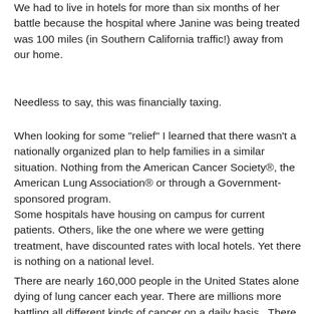We had to live in hotels for more than six months of her battle because the hospital where Janine was being treated was 100 miles (in Southern California traffic!) away from our home.
Needless to say, this was financially taxing.
When looking for some "relief" I learned that there wasn't a nationally organized plan to help families in a similar situation. Nothing from the American Cancer Society®, the American Lung Association® or through a Government-sponsored program.
Some hospitals have housing on campus for current patients. Others, like the one where we were getting treatment, have discounted rates with local hotels. Yet there is nothing on a national level.
There are nearly 160,000 people in the United States alone dying of lung cancer each year. There are millions more battling all different kinds of cancer on a daily basis.  There are countless charities in place raising money for research in order to beat this insidious terrorist. Yes, cancer is a terrorist. It strikes fear, shows no mercy or